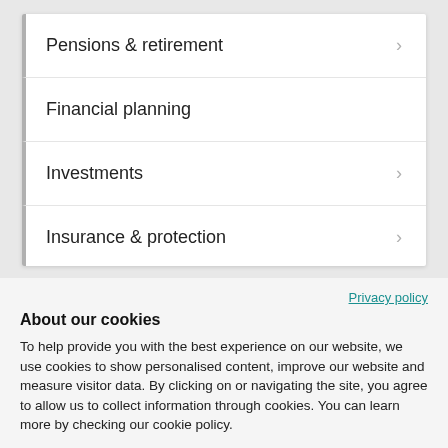Pensions & retirement
Financial planning
Investments
Insurance & protection
Privacy policy
About our cookies
To help provide you with the best experience on our website, we use cookies to show personalised content, improve our website and measure visitor data. By clicking on or navigating the site, you agree to allow us to collect information through cookies. You can learn more by checking our cookie policy.
Accept all
Manage settings